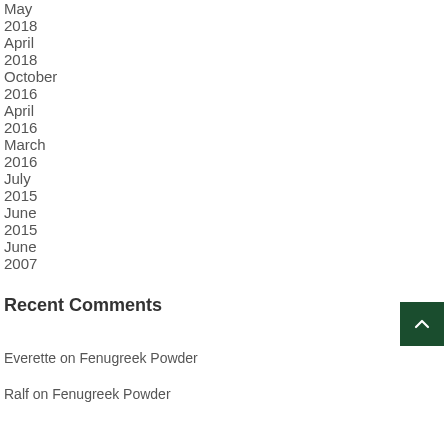May 2018
April 2018
October 2016
April 2016
March 2016
July 2015
June 2015
June 2007
Recent Comments
Everette on Fenugreek Powder
Ralf on Fenugreek Powder